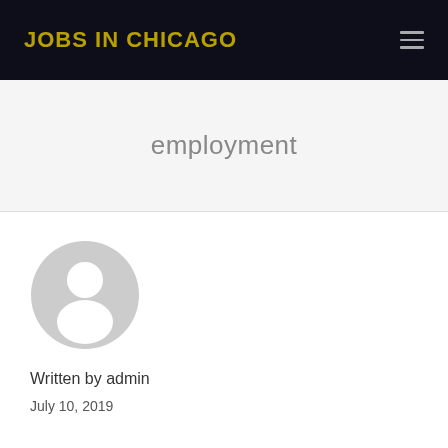JOBS IN CHICAGO
employment
[Figure (illustration): Default user avatar: grey circle with white silhouette of a person (head and shoulders)]
Written by admin
July 10, 2019